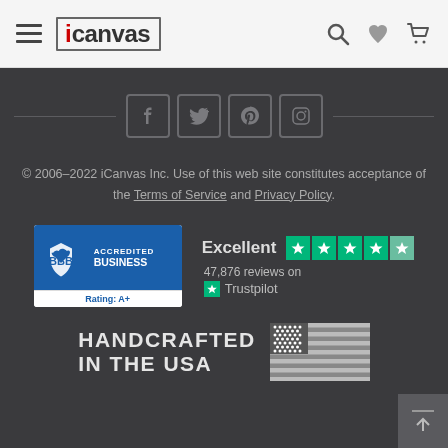[Figure (logo): iCanvas website header with hamburger menu, iCanvas logo, search, heart, and cart icons]
[Figure (infographic): Social media icons: Facebook, Twitter, Pinterest, Instagram with horizontal lines on sides]
© 2006–2022 iCanvas Inc. Use of this web site constitutes acceptance of the Terms of Service and Privacy Policy.
[Figure (logo): BBB Accredited Business badge with Rating: A+]
[Figure (infographic): Trustpilot rating: Excellent, 5 green stars, 47,876 reviews on Trustpilot]
[Figure (infographic): HANDCRAFTED IN THE USA with American flag graphic]